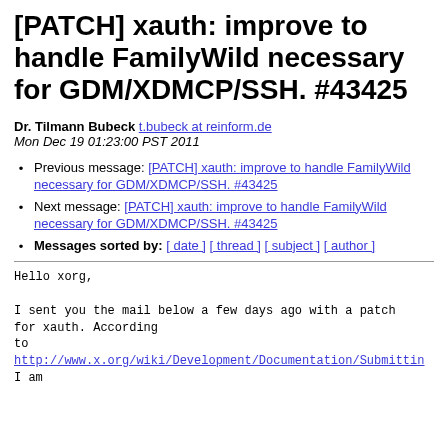[PATCH] xauth: improve to handle FamilyWild necessary for GDM/XDMCP/SSH. #43425
Dr. Tilmann Bubeck t.bubeck at reinform.de
Mon Dec 19 01:23:00 PST 2011
Previous message: [PATCH] xauth: improve to handle FamilyWild necessary for GDM/XDMCP/SSH. #43425
Next message: [PATCH] xauth: improve to handle FamilyWild necessary for GDM/XDMCP/SSH. #43425
Messages sorted by: [ date ] [ thread ] [ subject ] [ author ]
Hello xorg,

I sent you the mail below a few days ago with a patch
for xauth. According
to
http://www.x.org/wiki/Development/Documentation/Submittin
I am